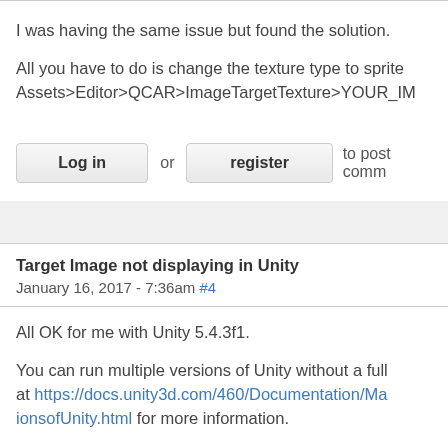I was having the same issue but found the solution.
All you have to do is change the texture type to sprite Assets>Editor>QCAR>ImageTargetTexture>YOUR_IM
Log in or register to post comm
Target Image not displaying in Unity
January 16, 2017 - 7:36am #4
All OK for me with Unity 5.4.3f1.
You can run multiple versions of Unity without a full at https://docs.unity3d.com/460/Documentation/Ma ionsofUnity.html for more information.